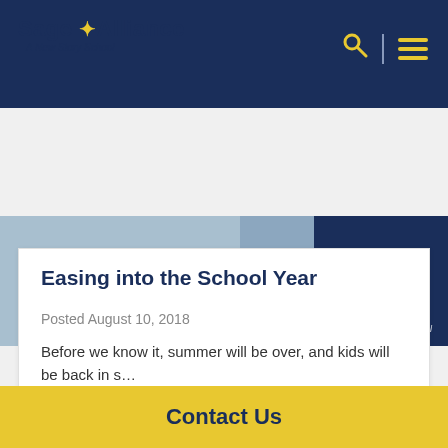Sage Alliance — A New Story School
[Figure (photo): Hero image showing students walking, partially cropped, with dark navy right side and 'A New Story School' text overlay]
Easing into the School Year
Posted August 10, 2018
Before we know it, summer will be over, and kids will be back in s…
LEARN MORE
Contact Us